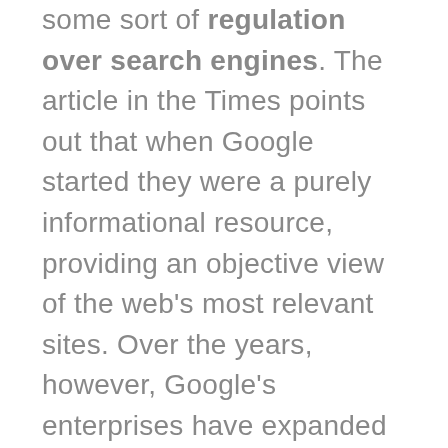some sort of regulation over search engines. The article in the Times points out that when Google started they were a purely informational resource, providing an objective view of the web's most relevant sites. Over the years, however, Google's enterprises have expanded vastly, with maps, shopping, paid advertisements, email and litanies of other auxiliary projects. While business expansion is obviously a good thing, Google now has an incentive to promote their services above their competitors—which is a definite conflict of interest when, ostensibly, you're managing an objective site.